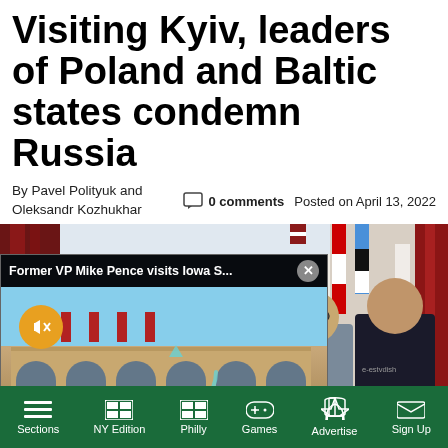Visiting Kyiv, leaders of Poland and Baltic states condemn Russia
By Pavel Polityuk and Oleksandr Kozhukhar
0 comments  Posted on April 13, 2022
[Figure (photo): Main photo showing two leaders standing in front of flags with ornate interior; overlaid with a video player showing Former VP Mike Pence visits Iowa S... with a mute button and replay icon]
Sections  NY Edition  Philly  Games  Advertise  Sign Up